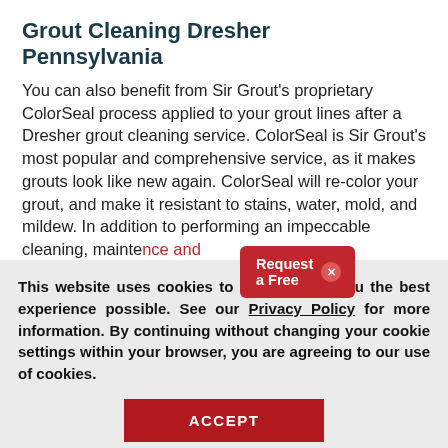Grout Cleaning Dresher Pennsylvania
You can also benefit from Sir Grout's proprietary ColorSeal process applied to your grout lines after a Dresher grout cleaning service. ColorSeal is Sir Grout's most popular and comprehensive service, as it makes grouts look like new again. ColorSeal will re-color your grout, and make it resistant to stains, water, mold, and mildew. In addition to performing an impeccable cleaning, maintenance and restoration service. our D
[Figure (other): Red popup button with text 'Request a Free' and a close (X) circle button]
This website uses cookies to help provide you the best experience possible. See our Privacy Policy for more information. By continuing without changing your cookie settings within your browser, you are agreeing to our use of cookies.
ACCEPT